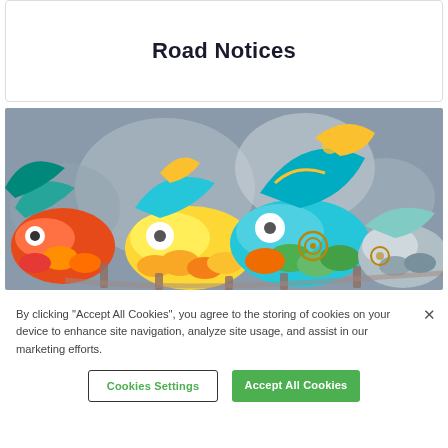Road Notices
[Figure (photo): Colorful decorative fish hat/costume pieces — orange, yellow, teal, and green fish sculptures with large white eyes and scale details, worn on heads, photographed outdoors with blurred grey background.]
By clicking “Accept All Cookies”, you agree to the storing of cookies on your device to enhance site navigation, analyze site usage, and assist in our marketing efforts.
Cookies Settings
Accept All Cookies